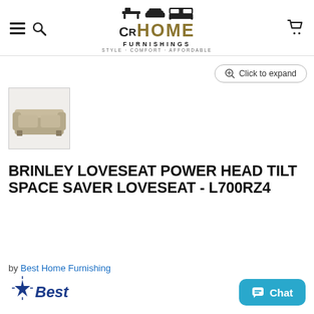CR Home Furnishings — Style · Comfort · Affordable
[Figure (screenshot): Click to expand button with magnifier icon]
[Figure (photo): Thumbnail image of the Brinley Loveseat — a gray/taupe reclining loveseat]
BRINLEY LOVESEAT POWER HEAD TILT SPACE SAVER LOVESEAT - L700RZ4
by Best Home Furnishing
[Figure (logo): Best Home Furnishing star logo (partial)]
[Figure (screenshot): Chat button (teal/blue) with chat bubble icon]